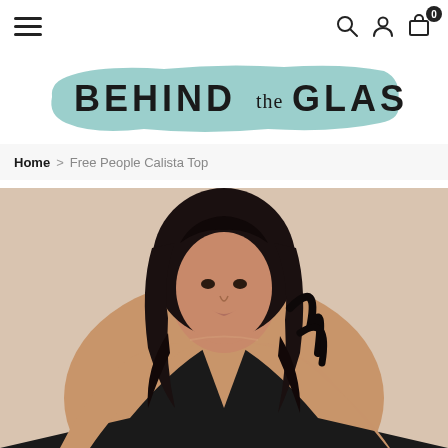Navigation bar with hamburger menu, search, account, and cart (0) icons
[Figure (logo): Behind the Glass brand logo with teal/mint brushstroke background and dark text reading BEHIND the GLASS]
Home > Free People Calista Top
[Figure (photo): Fashion model with long curly dark hair wearing a deep V-neck black top, photographed against a warm beige/nude background, cropped at upper torso]